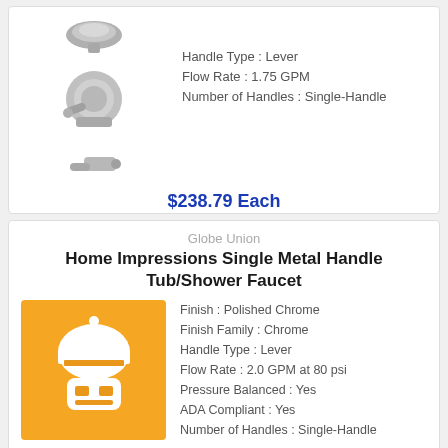[Figure (photo): Three faucet/shower component images stacked vertically]
Handle Type : Lever
Flow Rate : 1.75 GPM
Number of Handles : Single-Handle
$238.79 Each
Globe Union
Home Impressions Single Metal Handle Tub/Shower Faucet
[Figure (illustration): Robot/worker icon on orange/yellow background]
Finish : Polished Chrome
Finish Family : Chrome
Handle Type : Lever
Flow Rate : 2.0 GPM at 80 psi
Pressure Balanced : Yes
ADA Compliant : Yes
Number of Handles : Single-Handle
$124.37 Each